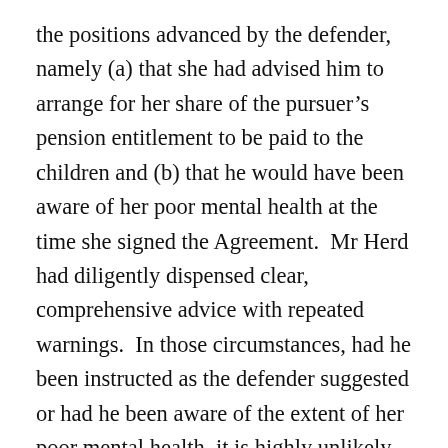the positions advanced by the defender, namely (a) that she had advised him to arrange for her share of the pursuer's pension entitlement to be paid to the children and (b) that he would have been aware of her poor mental health at the time she signed the Agreement.  Mr Herd had diligently dispensed clear, comprehensive advice with repeated warnings.  In those circumstances, had he been instructed as the defender suggested or had he been aware of the extent of her poor mental health, it is highly unlikely that he would not have carefully noted that information and his advice to the defender.  The absence of any such note is telling.  There is also no basis, in my judgment, for concluding that Mr Herd ought to